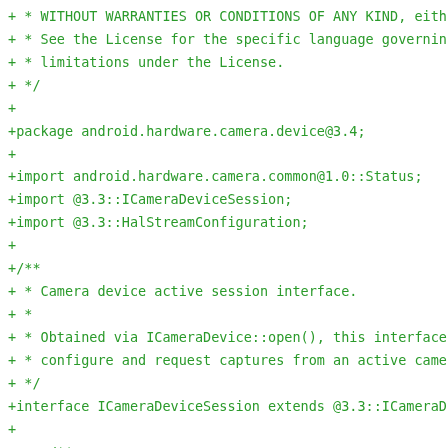+ * WITHOUT WARRANTIES OR CONDITIONS OF ANY KIND, either
+ * See the License for the specific language governing
+ * limitations under the License.
+ */
+
+package android.hardware.camera.device@3.4;
+
+import android.hardware.camera.common@1.0::Status;
+import @3.3::ICameraDeviceSession;
+import @3.3::HalStreamConfiguration;
+
+/**
+ * Camera device active session interface.
+ *
+ * Obtained via ICameraDevice::open(), this interface
+ * configure and request captures from an active came
+ */
+interface ICameraDeviceSession extends @3.3::ICameraD
+
+    /**
+     * configureStreams_3_4:
+     *